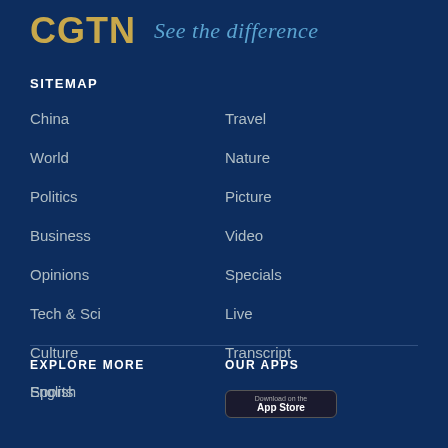[Figure (logo): CGTN logo with tagline 'See the difference']
SITEMAP
China
World
Politics
Business
Opinions
Tech & Sci
Culture
Sports
Travel
Nature
Picture
Video
Specials
Live
Transcript
EXPLORE MORE
OUR APPS
English
[Figure (other): Download on the App Store badge]